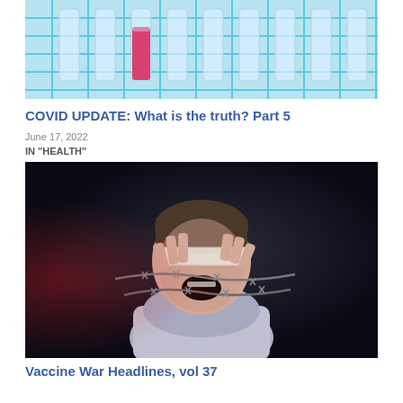[Figure (photo): Test tubes in a blue laboratory rack, one tube filled with red/pink liquid among clear tubes]
COVID UPDATE: What is the truth? Part 5
June 17, 2022
IN "HEALTH"
[Figure (photo): Person with eyes blindfolded with a bandage and hands bound with barbed wire, screaming in distress against a dark background]
Vaccine War Headlines, vol 37